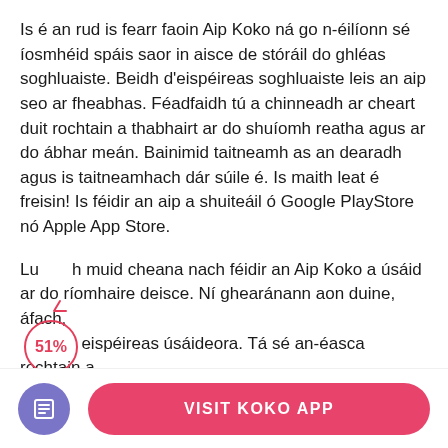Is é an rud is fearr faoin Aip Koko ná go n-éilíonn sé íosmhéid spáis saor in aisce de stóráil do ghléas soghluaiste. Beidh d'eispéireas soghluaiste leis an aip seo ar fheabhas. Féadfaidh tú a chinneadh ar cheart duit rochtain a thabhairt ar do shuíomh reatha agus ar do ábhar meán. Bainimid taitneamh as an dearadh agus is taitneamhach dár súile é. Is maith leat é freisin! Is féidir an aip a shuiteáil ó Google PlayStore nó Apple App Store.
Luaigh muid cheana nach féidir an Aip Koko a úsáid ar do ríomhaire deisce. Ní ghearánann aon duine, áfach, ar eispéireas úsáideora. Tá sé an-éasca rochtain a fháil ar na príomhghnéithe go léir ón bpríomh-
[Figure (other): Pink rounded button labeled VISIT KOKO APP, with a purple circular icon button with a document/list icon on the left.]